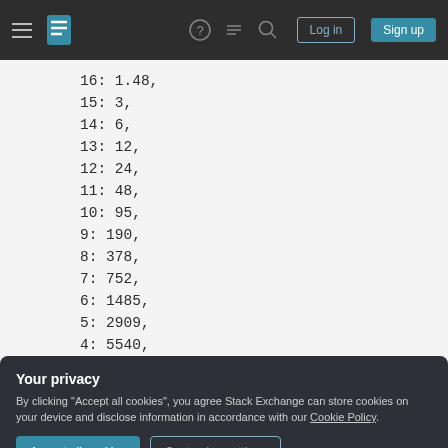Stack Exchange navigation bar with hamburger menu, logo, help, chat, search icons, Log in and Sign up buttons
16: 1.48,
15: 3,
14: 6,
13: 12,
12: 24,
11: 48,
10: 95,
9: 190,
8: 378,
7: 752,
6: 1485,
5: 2909,
4: 5540,
3: 10064
Your privacy
By clicking "Accept all cookies", you agree Stack Exchange can store cookies on your device and disclose information in accordance with our Cookie Policy.
Accept all cookies  Customize settings
A WMS getFeatureInfo request works by passing